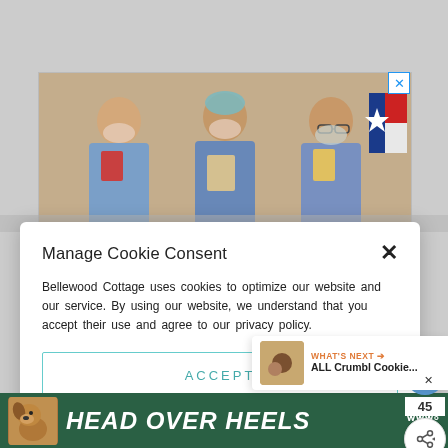[Figure (photo): Three healthcare workers wearing masks and scrubs holding books/cards, with a Texas flag visible on the right side. Shown as an advertisement.]
Manage Cookie Consent
Bellewood Cottage uses cookies to optimize our website and our service. By using our website, we understand that you accept their use and agree to our privacy policy.
ACCEPT
Privacy Policy  Privacy Policy
[Figure (infographic): Right side floating UI: heart/like button (blue circle), count '45', share button]
WHAT'S NEXT → ALL Crumbl Cookie...
HEAD OVER HEELS